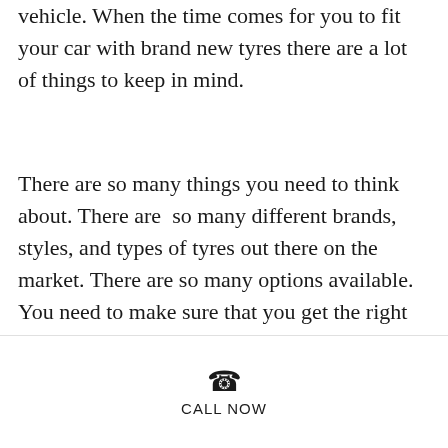vehicle. When the time comes for you to fit your car with brand new tyres there are a lot of things to keep in mind.
There are so many things you need to think about. There are  so many different brands, styles, and types of tyres out there on the market. There are so many options available. You need to make sure that you get the right advice - so you are getting the perfect tyres for your car whilst also getting value for money.
[Figure (other): Dark decorative bar at the top of a call-now widget]
CALL NOW